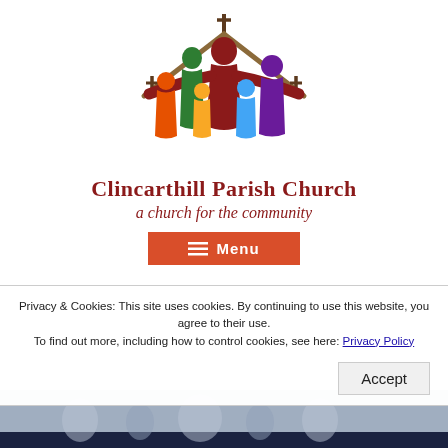[Figure (logo): Clincarthill Parish Church logo: stylized figures of adults and children under a church roof with a cross, in multiple colors (red, green, orange, yellow, blue, purple), with outstretched arms]
Clincarthill Parish Church
a church for the community
[Figure (screenshot): Red menu button with hamburger icon and text 'Menu']
Privacy & Cookies: This site uses cookies. By continuing to use this website, you agree to their use.
To find out more, including how to control cookies, see here: Privacy Policy
[Figure (photo): Partially visible photo at the bottom of the page showing people, with blue/dark tones]